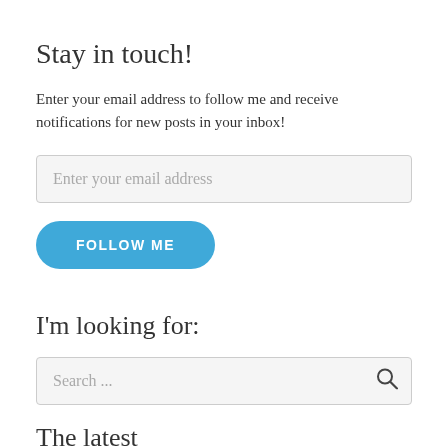Stay in touch!
Enter your email address to follow me and receive notifications for new posts in your inbox!
Enter your email address
FOLLOW ME
I'm looking for:
Search ...
The latest